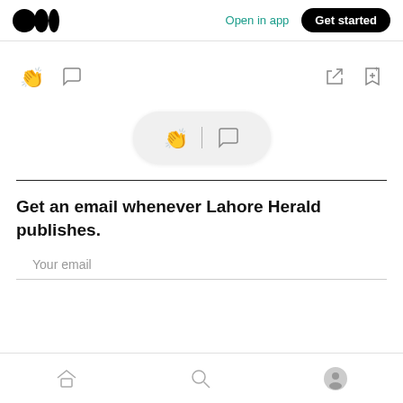Open in app | Get started
[Figure (screenshot): Medium app action icons: clap, comment (left), share, bookmark-add (right)]
[Figure (screenshot): Floating pill with clap and comment icons]
Get an email whenever Lahore Herald publishes.
Your email
Home, Search, Profile navigation icons